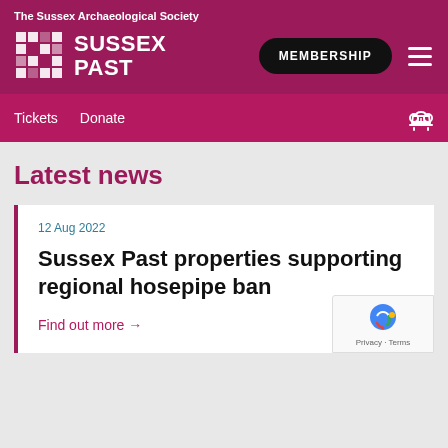The Sussex Archaeological Society
[Figure (logo): Sussex Past logo with grid icon and text SUSSEX PAST]
MEMBERSHIP
Tickets   Donate
Latest news
12 Aug 2022
Sussex Past properties supporting regional hosepipe ban
Find out more →